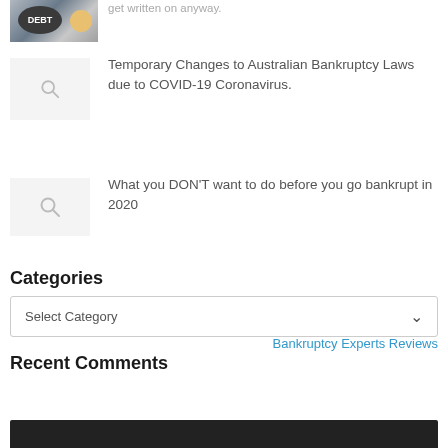[Figure (photo): Partial image of a debt ball and chain illustration at top left]
get written on anyway.
[Figure (other): Thumbnail placeholder with search icon for second list item]
Temporary Changes to Australian Bankruptcy Laws due to COVID-19 Coronavirus.
[Figure (other): Thumbnail placeholder with search icon for third list item]
What you DON'T want to do before you go bankrupt in 2020
Categories
Select Category
Bankruptcy Experts Reviews
Recent Comments